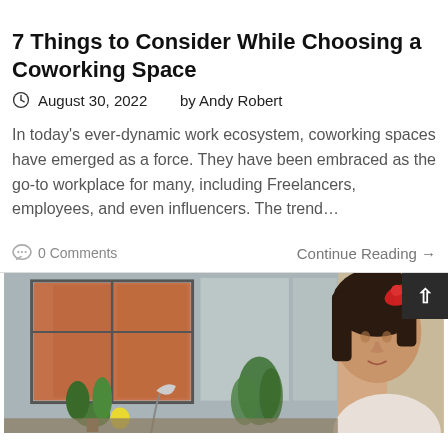7 Things to Consider While Choosing a Coworking Space
August 30, 2022    by Andy Robert
In today's ever-dynamic work ecosystem, coworking spaces have emerged as a force. They have been embraced as the go-to workplace for many, including Freelancers, employees, and even influencers. The trend…
0 Comments    Continue Reading →
[Figure (photo): Photo of a woman with a red hair accessory working at a desk near a window with plants and natural light in a coworking space]